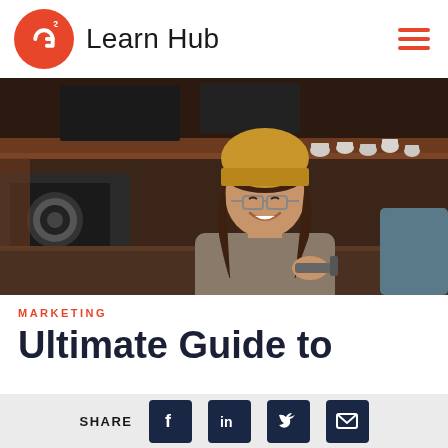G2 Learn Hub
[Figure (photo): A smiling young woman wearing a yellow beanie hat and glasses, working behind a cafe counter with espresso equipment, smiling at someone off-camera.]
MARKETING
Ultimate Guide to
SHARE